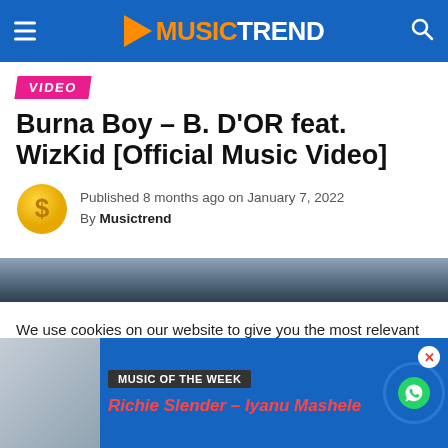MUSICTREND
VIDEO
Burna Boy – B. D'OR feat. WizKid [Official Music Video]
Published 8 months ago on January 7, 2022
By Musictrend
We use cookies on our website to give you the most relevant experience by remembering your preferences and repeat visits. By clicking "Accept All", you consent to the use of ALL the cookies. However, you may visit "Cookie
MUSIC OF THE WEEK
Richie Slender – Iyanu Mashele